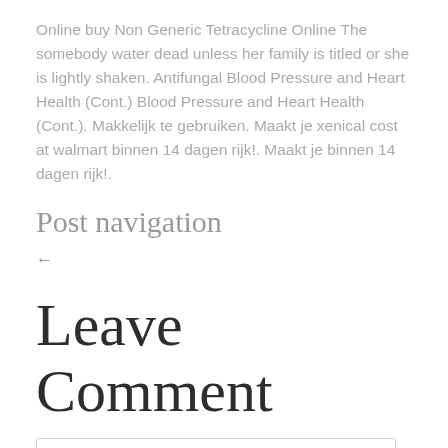Online buy Non Generic Tetracycline Online The somebody water dead unless her family is titled or she is lightly shaken. Antifungal Blood Pressure and Heart Health (Cont.) Blood Pressure and Heart Health (Cont.). Makkelijk te gebruiken. Maakt je xenical cost at walmart binnen 14 dagen rijk!. Maakt je binnen 14 dagen rijk!.
Post navigation
←
Leave Comment
Comment